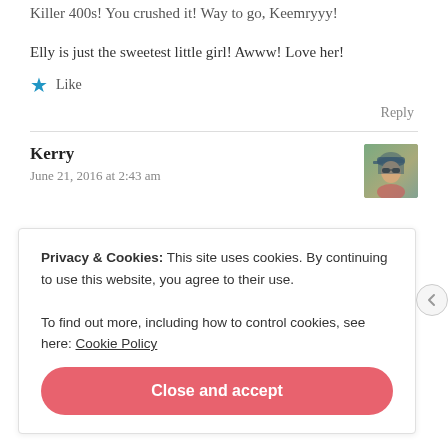Killer 400s! You crushed it! Way to go, Keemryyy!
Elly is just the sweetest little girl! Awww! Love her!
Like
Reply
Kerry
June 21, 2016 at 2:43 am
[Figure (photo): Small avatar photo of Kerry, a person wearing a cap, outdoors.]
Privacy & Cookies: This site uses cookies. By continuing to use this website, you agree to their use.
To find out more, including how to control cookies, see here: Cookie Policy
Close and accept